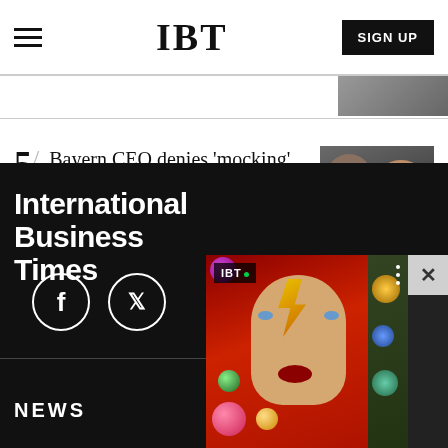IBT  SIGN UP
[Figure (photo): Thumbnail image strip at top right]
Bayern CEO denies 'mocking' Barcelona during Champions League draw
[Figure (photo): Two men in dark clothing, one wearing glasses (Bayern CEO)]
International Business Times
[Figure (photo): Video overlay showing IBT logo and Ziggy Stardust mosaic artwork with colorful orbs]
NEWS